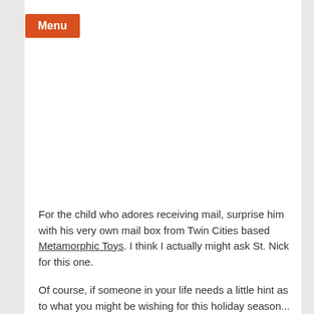Menu
For the child who adores receiving mail, surprise him with his very own mail box from Twin Cities based Metamorphic Toys. I think I actually might ask St. Nick for this one.
Of course, if someone in your life needs a little hint as to what you might be wishing for this holiday season...